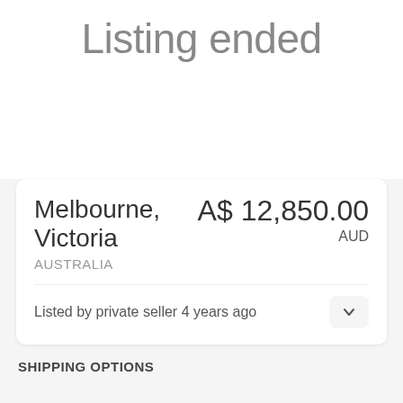Listing ended
Melbourne, Victoria
AUSTRALIA
A$ 12,850.00
AUD
Listed by private seller 4 years ago
SHIPPING OPTIONS